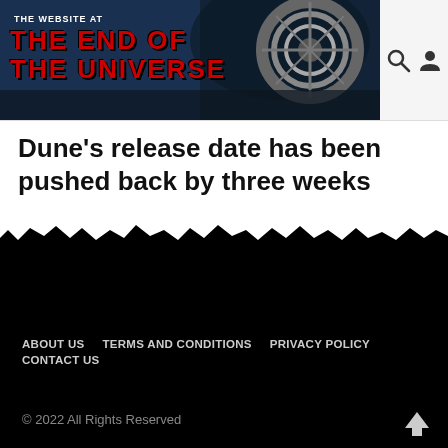THE WEBSITE AT THE END OF THE UNIVERSE
Dune’s release date has been pushed back by three weeks
[Figure (screenshot): Dark footer section with torn paper edge effect above it]
ABOUT US   TERMS AND CONDITIONS   PRIVACY POLICY   CONTACT US   © 2022 All Rights Reserved